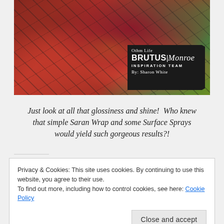[Figure (photo): Colorful mixed-media art piece showing glossy textured surface with reds, greens, and golds, with a Brutus Monroe Inspiration Team badge in the bottom right corner credited to Sharon White]
Just look at all that glossiness and shine!  Who knew that simple Saran Wrap and some Surface Sprays would yield such gorgeous results?!
Privacy & Cookies: This site uses cookies. By continuing to use this website, you agree to their use.
To find out more, including how to control cookies, see here: Cookie Policy
Close and accept